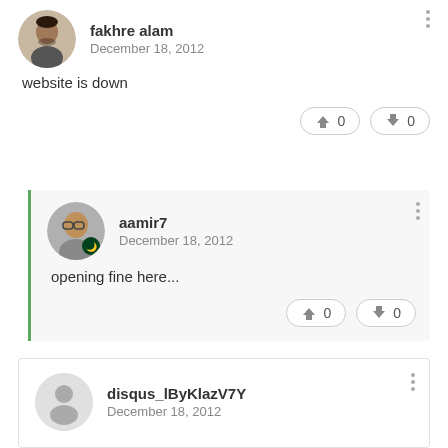[Figure (screenshot): Comment thread screenshot showing three user comments on a website. First comment by 'fakhre alam' dated December 18, 2012 saying 'website is down' with 0 upvotes and 0 downvotes. A reply by 'aamir7' dated December 18, 2012 saying 'opening fine here...' with 0 upvotes and 0 downvotes. Third comment by 'disqus_lByKlazV7Y' dated December 18, 2012.]